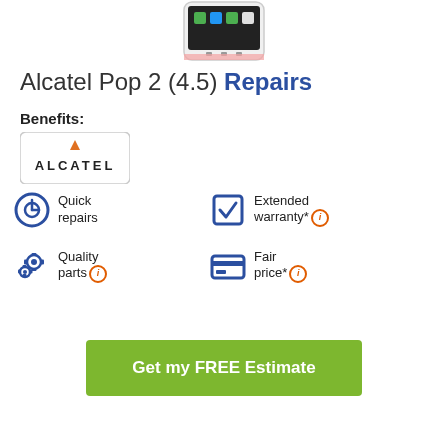[Figure (photo): Alcatel Pop 2 (4.5) smartphone image, partially cropped at top]
Alcatel Pop 2 (4.5) Repairs
Benefits:
[Figure (logo): Alcatel brand logo with orange triangle above letter A]
Quick repairs
Extended warranty*
Quality parts
Fair price*
Get my FREE Estimate